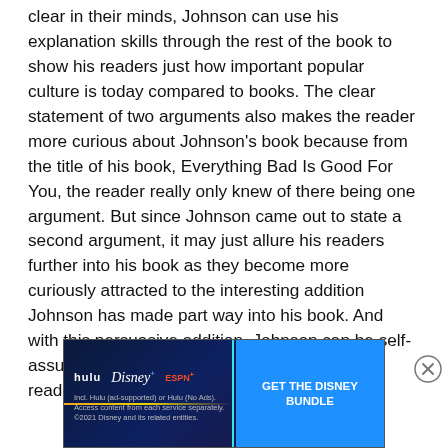clear in their minds, Johnson can use his explanation skills through the rest of the book to show his readers just how important popular culture is today compared to books. The clear statement of two arguments also makes the reader more curious about Johnson's book because from the title of his book, Everything Bad Is Good For You, the reader really only knew of there being one argument. But since Johnson came out to state a second argument, it may just allure his readers further into his book as they become more curiously attracted to the interesting addition Johnson has made part way into his book. And with this persuasive addition, Johnson can be self-assured that he has gained interest from his readers, making
[Figure (other): Advertisement banner for The Disney Bundle featuring Hulu, Disney+, and ESPN+ logos with 'GET THE DISNEY BUNDLE' call-to-action button. Legal text: 'Incl. Hulu (ad-supported) or Hulu (No Ads). Access content from each service separately. ©2021 Disney and its related entities.']